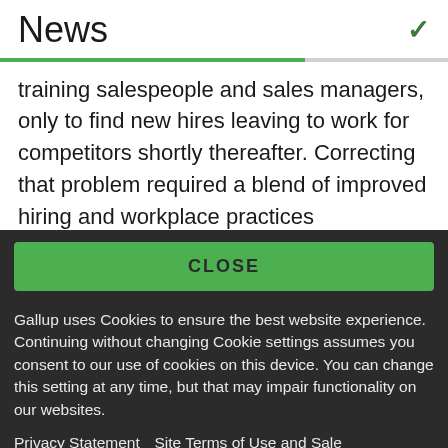News
training salespeople and sales managers, only to find new hires leaving to work for competitors shortly thereafter. Correcting that problem required a blend of improved hiring and workplace practices
CLOSE
Gallup uses Cookies to ensure the best website experience. Continuing without changing Cookie settings assumes you consent to our use of cookies on this device. You can change this setting at any time, but that may impair functionality on our websites.
Privacy Statement   Site Terms of Use and Sale
Product Terms of Use   Adjust your cookie settings.